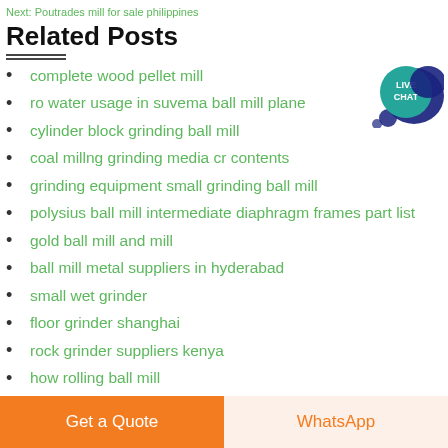Next: Poutrades mill for sale philippines
Related Posts
complete wood pellet mill
ro water usage in suvema ball mill plane
cylinder block grinding ball mill
coal millng grinding media cr contents
grinding equipment small grinding ball mill
polysius ball mill intermediate diaphragm frames part list
gold ball mill and mill
ball mill metal suppliers in hyderabad
small wet grinder
floor grinder shanghai
rock grinder suppliers kenya
how rolling ball mill
does a ball mill crusher work
[Figure (other): Live Chat button widget with speech bubble icon, teal/dark blue colors, text: LIVE CHAT]
Get a Quote
WhatsApp